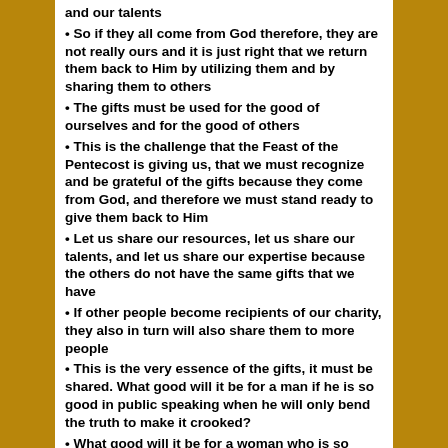and our talents
• So if they all come from God therefore, they are not really ours and it is just right that we return them back to Him by utilizing them and by sharing them to others
• The gifts must be used for the good of ourselves and for the good of others
• This is the challenge that the Feast of the Pentecost is giving us, that we must recognize and be grateful of the gifts because they come from God, and therefore we must stand ready to give them back to Him
• Let us share our resources, let us share our talents, and let us share our expertise because the others do not have the same gifts that we have
• If other people become recipients of our charity, they also in turn will also share them to more people
• This is the very essence of the gifts, it must be shared. What good will it be for a man if he is so good in public speaking when he will only bend the truth to make it crooked?
• What good will it be for a woman who is so beautiful and intelligent when she would only satisfy her own vanity?
• What good will it be for Christians who preach about love and forgiveness when they refuse even just to